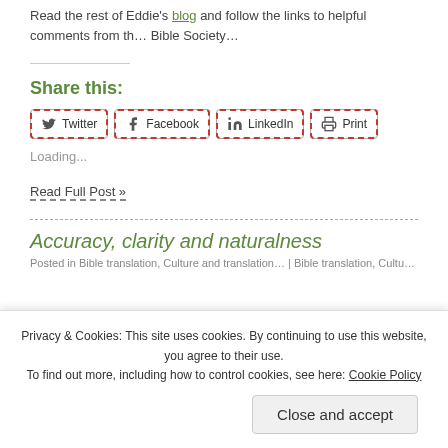Read the rest of Eddie's blog and follow the links to helpful comments from the Bible Society…
Share this:
Twitter | Facebook | LinkedIn | Print
Loading...
Read Full Post »
Accuracy, clarity and naturalness
Posted in Bible translation, Culture and translation, etc. | Bible translation, Culture...
Privacy & Cookies: This site uses cookies. By continuing to use this website, you agree to their use.
To find out more, including how to control cookies, see here: Cookie Policy
Close and accept